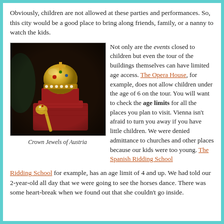Obviously, children are not allowed at these parties and performances. So, this city would be a good place to bring along friends, family, or a nanny to watch the kids.
[Figure (photo): Photo of the Crown Jewels of Austria — an ornate golden imperial crown and scepter displayed on a red velvet pedestal in a dimly lit museum case.]
Crown Jewels of Austria
Not only are the events closed to children but even the tour of the buildings themselves can have limited age access. The Opera House, for example, does not allow children under the age of 6 on the tour. You will want to check the age limits for all the places you plan to visit. Vienna isn't afraid to turn you away if you have little children. We were denied admittance to churches and other places because our kids were too young. The Spanish Ridding School for example, has an age limit of 4 and up. We had told our 2-year-old all day that we were going to see the horses dance. There was some heart-break when we found out that she couldn't go inside.